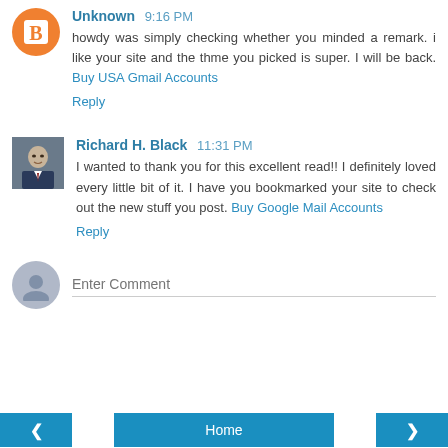[Figure (illustration): Orange circle avatar with blogger 'B' icon for Unknown user]
Unknown 9:16 PM
howdy was simply checking whether you minded a remark. i like your site and the thme you picked is super. I will be back. Buy USA Gmail Accounts
Reply
[Figure (photo): Profile photo of Richard H. Black - man in suit]
Richard H. Black 11:31 PM
I wanted to thank you for this excellent read!! I definitely loved every little bit of it. I have you bookmarked your site to check out the new stuff you post. Buy Google Mail Accounts
Reply
Enter Comment
< Home >